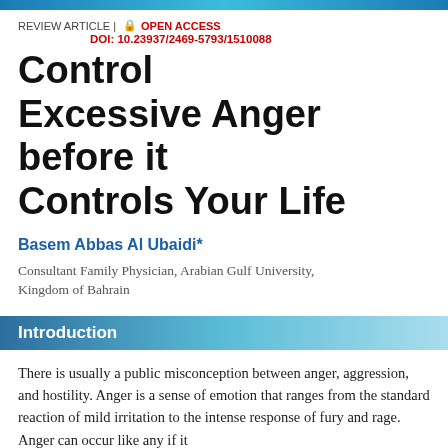REVIEW ARTICLE | 🔒 OPEN ACCESS
DOI: 10.23937/2469-5793/1510088
Control Excessive Anger before it Controls Your Life
Basem Abbas Al Ubaidi*
Consultant Family Physician, Arabian Gulf University, Kingdom of Bahrain
Introduction
There is usually a public misconception between anger, aggression, and hostility. Anger is a sense of emotion that ranges from the standard reaction of mild irritation to the intense response of fury and rage. Anger can occur like any if it...